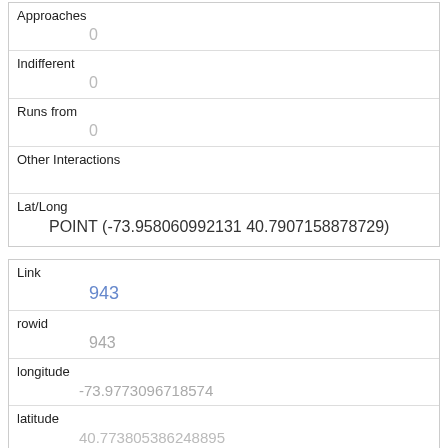| Approaches | 0 |
| Indifferent | 0 |
| Runs from | 0 |
| Other Interactions |  |
| Lat/Long | POINT (-73.958060992131 40.7907158878729) |
| Link | 943 |
| rowid | 943 |
| longitude | -73.9773096718574 |
| latitude | 40.773805386248895 |
| Unique Squirrel ID | 8A-AM-1013-06 |